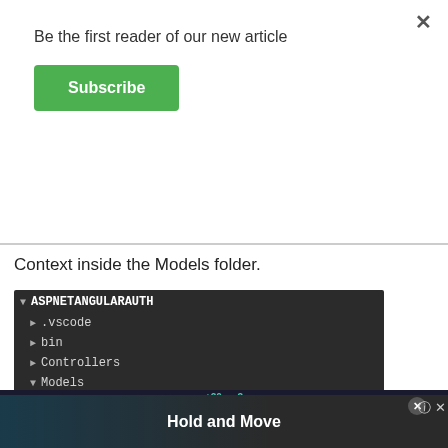Be the first reader of our new article
Subscribe
Context inside the Models folder.
[Figure (screenshot): Visual Studio Code solution explorer showing ASPNETANGULARAUTH project with folders: .vscode, bin, Controllers, Models (expanded with BookStoreContext.cs highlighted, TblBook.cs, TblUser.cs), obj, Properties, wwwroot]
[Figure (screenshot): Advertisement banner at bottom showing 'Hold and Move' game with dark background and blue icons]